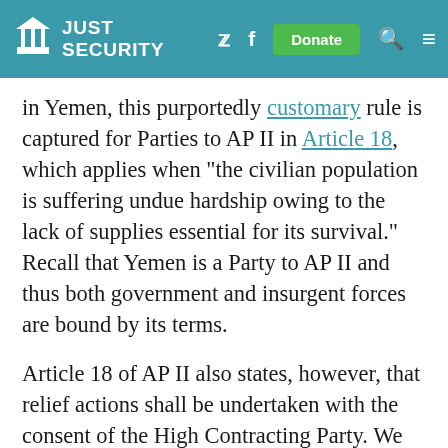Just Security
in Yemen, this purportedly customary rule is captured for Parties to AP II in Article 18, which applies when “the civilian population is suffering undue hardship owing to the lack of supplies essential for its survival.” Recall that Yemen is a Party to AP II and thus both government and insurgent forces are bound by its terms.
Article 18 of AP II also states, however, that relief actions shall be undertaken with the consent of the High Contracting Party. We concur with the Oxford Guidance on the Law Relating to Humanitarian Relief Operations in